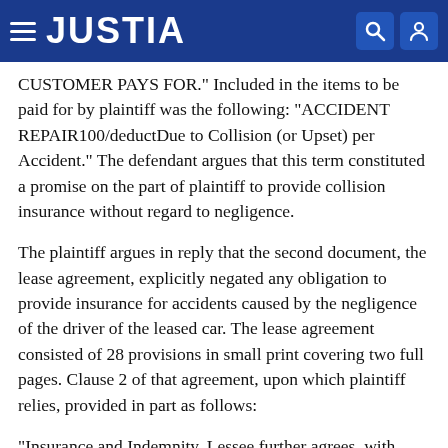JUSTIA
CUSTOMER PAYS FOR." Included in the items to be paid for by plaintiff was the following: "ACCIDENT REPAIR100/deductDue to Collision (or Upset) per Accident." The defendant argues that this term constituted a promise on the part of plaintiff to provide collision insurance without regard to negligence.
The plaintiff argues in reply that the second document, the lease agreement, explicitly negated any obligation to provide insurance for accidents caused by the negligence of the driver of the leased car. The lease agreement consisted of 28 provisions in small print covering two full pages. Clause 2 of that agreement, upon which plaintiff relies, provided in part as follows:
"Insurance and Indemnity. Lessee further agrees, with respect to each leased automobile, to: (a) Pay for any loss of or damage to the automobile not caused by